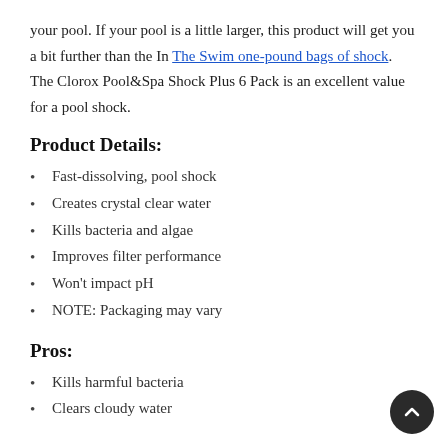your pool. If your pool is a little larger, this product will get you a bit further than the In The Swim one-pound bags of shock. The Clorox Pool&Spa Shock Plus 6 Pack is an excellent value for a pool shock.
Product Details:
Fast-dissolving, pool shock
Creates crystal clear water
Kills bacteria and algae
Improves filter performance
Won't impact pH
NOTE: Packaging may vary
Pros:
Kills harmful bacteria
Clears cloudy water